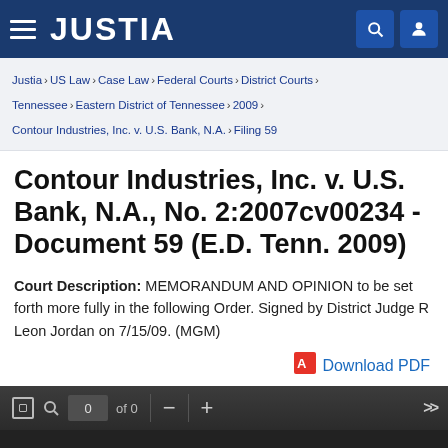JUSTIA
Justia › US Law › Case Law › Federal Courts › District Courts › Tennessee › Eastern District of Tennessee › 2009 › Contour Industries, Inc. v. U.S. Bank, N.A. › Filing 59
Contour Industries, Inc. v. U.S. Bank, N.A., No. 2:2007cv00234 - Document 59 (E.D. Tenn. 2009)
Court Description: MEMORANDUM AND OPINION to be set forth more fully in the following Order. Signed by District Judge R Leon Jordan on 7/15/09. (MGM)
Download PDF